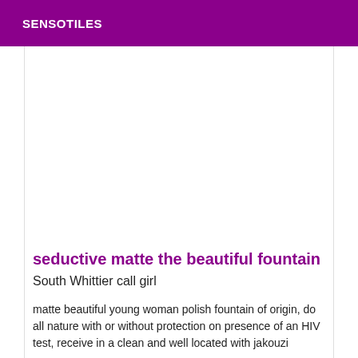SENSOTILES
seductive matte the beautiful fountain
South Whittier call girl
matte beautiful young woman polish fountain of origin, do all nature with or without protection on presence of an HIV test, receive in a clean and well located with jakouzi